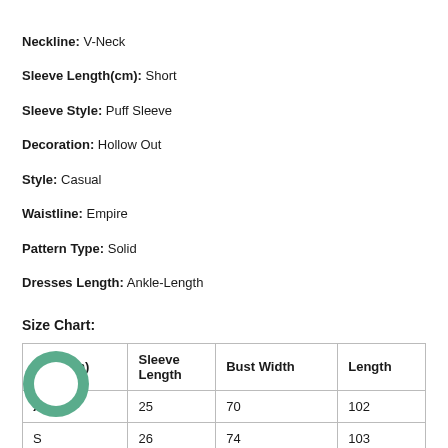Neckline: V-Neck
Sleeve Length(cm): Short
Sleeve Style: Puff Sleeve
Decoration: Hollow Out
Style: Casual
Waistline: Empire
Pattern Type: Solid
Dresses Length: Ankle-Length
Size Chart:
| Unit (cm) | Sleeve Length | Bust Width | Length |
| --- | --- | --- | --- |
| XS | 25 | 70 | 102 |
| S | 26 | 74 | 103 |
| M | 27 | 78 | 104 |
| L | 28 | 82 | 105 |